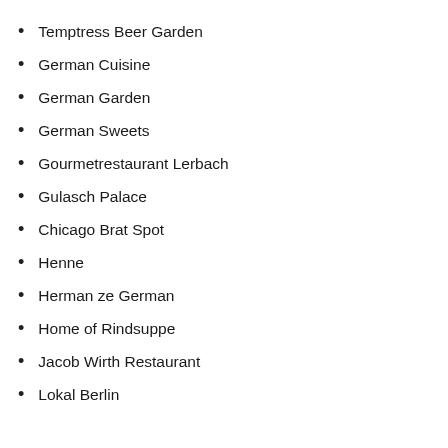Temptress Beer Garden
German Cuisine
German Garden
German Sweets
Gourmetrestaurant Lerbach
Gulasch Palace
Chicago Brat Spot
Henne
Herman ze German
Home of Rindsuppe
Jacob Wirth Restaurant
Lokal Berlin